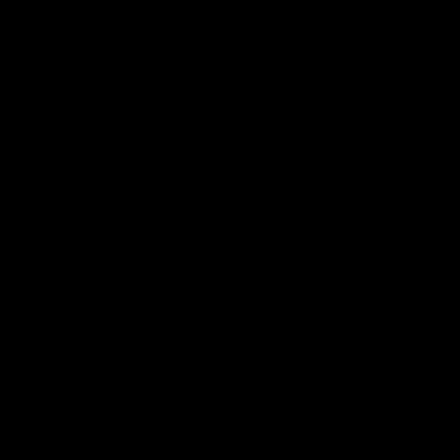now! The classic style has been the originator of the fashion world, pride of the fashion world. Chanel online store have great ma to Chanel Bags online and fascinating traditional style, Chane and elegant but low-key style. Chanel Diaper Bags Even lv are key design, Chanel Belts but fashionistas can still immediately Bags.
[ No Comments Allowed for Anonymous, please register ]
Re: yeah, and the republicans are dirty... (Score: 1) by cheung on Friday, September 16 @ 09:20:57 BST (User Info | Send a Message) http://www.buyasicsonlineau.co
Booth Air Jordan Shoes said he Air Max Shoes can't Jordan Max TN Women so agitated this year. "It Jordan 2 doesn't make been doing this over 20 years. For some reason, this year, Nik just going completely insane. "Bee attacks aren't limited to the man in northern Arizona remained hospitalized after he was st Shoes on Sunday. Yavapai County authorities say Nike Air M under a cattle trough. So the rest of the bees went completely g him take his last breath. The pigs started getting stung, Space was on the pig Jordan 1 and that was the target Air Jordan a Booth Cheap Jordan 2011 said.
[ No Comments Allowed for Anonymous, please register ]
Re: yeah, and the republicans are dirty... (Score: 1) by tina on Thursday, September 22 @ 04:19:39 BST (User Info | Send a Message)
There are so many different kinds of bags in Longchamp. Lon on longchamp outlet. This is where to look for your style, and particular, Longchamp le pliage is very popular with yong ladies want to own unqie one, please contact us. Thanks!
[ No Comments Allowed for Anonymous, please register ]
Re: yeah, and the republicans are dirty... (Score: 1)